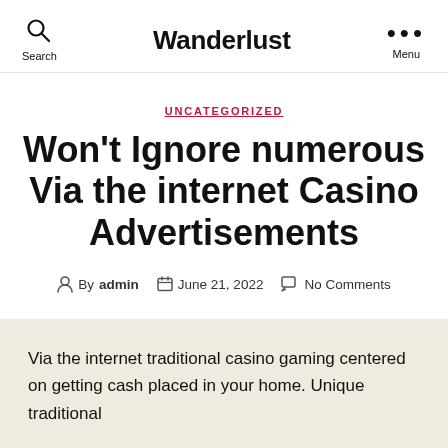Wanderlust
UNCATEGORIZED
Won't Ignore numerous Via the internet Casino Advertisements
By admin · June 21, 2022 · No Comments
Via the internet traditional casino gaming centered on getting cash placed in your home. Unique traditional